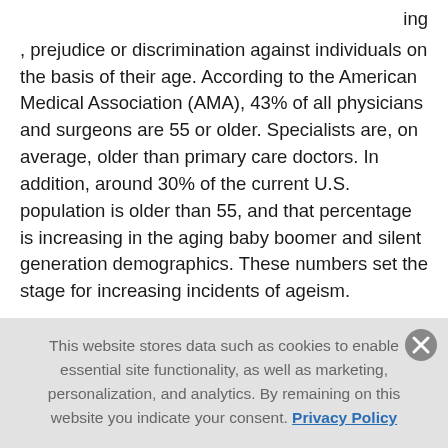ing
, prejudice or discrimination against individuals on the basis of their age. According to the American Medical Association (AMA), 43% of all physicians and surgeons are 55 or older. Specialists are, on average, older than primary care doctors. In addition, around 30% of the current U.S. population is older than 55, and that percentage is increasing in the aging baby boomer and silent generation demographics. These numbers set the stage for increasing incidents of ageism.
Advances in medicine have given humans longevity, but that longevity may be squandered if the medical community has a negative perspective on late age
This website stores data such as cookies to enable essential site functionality, as well as marketing, personalization, and analytics. By remaining on this website you indicate your consent. Privacy Policy